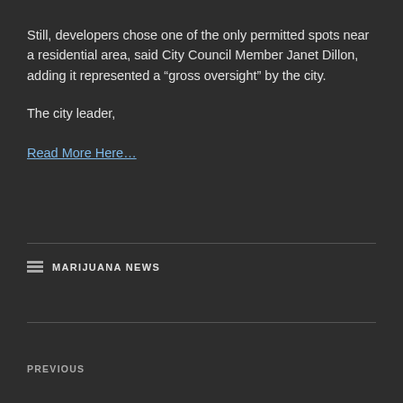Still, developers chose one of the only permitted spots near a residential area, said City Council Member Janet Dillon, adding it represented a “gross oversight” by the city.
The city leader,
Read More Here…
MARIJUANA NEWS
PREVIOUS